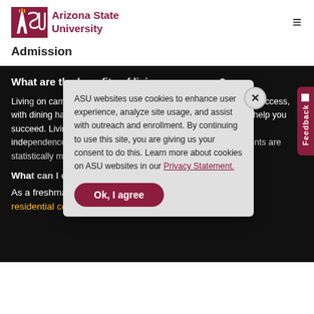[Figure (logo): Arizona State University logo with ASU text in maroon and gold, and 'Arizona State University' text beside it]
Admission
What are the benefits of living on campus?
Living on campus can be a great advantage for your academic success, with dining halls, tutoring centers and study lounges nearby to help you succeed. Living on campus also independence, prepare you for adult life, and on campus students are statistically more likely to graduate on time.
What can I expect living on campus?
As a freshman living on campus you'll be placed in a residential college — a community of other students
ASU websites use cookies to enhance user experience, analyze site usage, and assist with outreach and enrollment. By continuing to use this site, you are giving us your consent to do this. Learn more about cookies on ASU websites in our Privacy Statement.
Ok, I agree